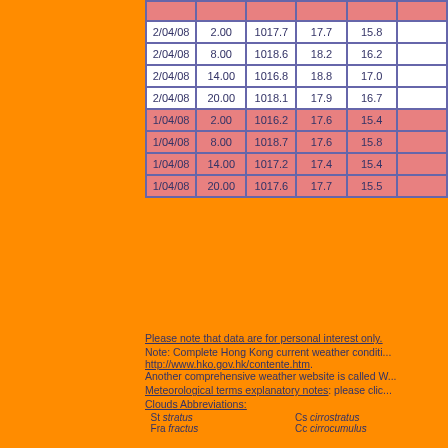| Date | Time | Pressure | Temp | Dew Pt | ... |
| --- | --- | --- | --- | --- | --- |
| 2/04/08 | 2.00 | 1017.7 | 17.7 | 15.8 |  |
| 2/04/08 | 8.00 | 1018.6 | 18.2 | 16.2 |  |
| 2/04/08 | 14.00 | 1016.8 | 18.8 | 17.0 |  |
| 2/04/08 | 20.00 | 1018.1 | 17.9 | 16.7 |  |
| 1/04/08 | 2.00 | 1016.2 | 17.6 | 15.4 |  |
| 1/04/08 | 8.00 | 1018.7 | 17.6 | 15.8 |  |
| 1/04/08 | 14.00 | 1017.2 | 17.4 | 15.4 |  |
| 1/04/08 | 20.00 | 1017.6 | 17.7 | 15.5 |  |
Please note that data are for personal interest only.
Note: Complete Hong Kong current weather conditions at http://www.hko.gov.hk/contente.htm. Another comprehensive weather website is called W...
Meteorological terms explanatory notes: please clic...
Clouds Abbreviations:
St stratus    Cs cirrostratus
Fra fractus    Cc cirrocumulus